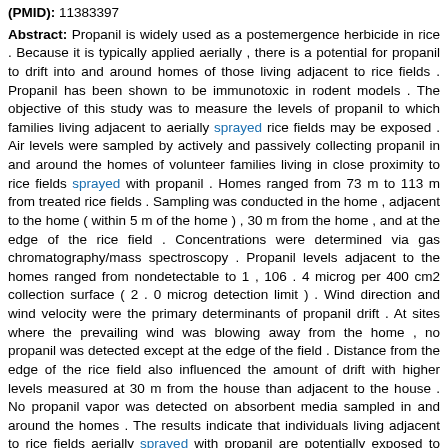(PMID): 11383397
Abstract: Propanil is widely used as a postemergence herbicide in rice . Because it is typically applied aerially , there is a potential for propanil to drift into and around homes of those living adjacent to rice fields . Propanil has been shown to be immunotoxic in rodent models . The objective of this study was to measure the levels of propanil to which families living adjacent to aerially sprayed rice fields may be exposed . Air levels were sampled by actively and passively collecting propanil in and around the homes of volunteer families living in close proximity to rice fields sprayed with propanil . Homes ranged from 73 m to 113 m from treated rice fields . Sampling was conducted in the home , adjacent to the home ( within 5 m of the home ) , 30 m from the home , and at the edge of the rice field . Concentrations were determined via gas chromatography/mass spectroscopy . Propanil levels adjacent to the homes ranged from nondetectable to 1 , 106 . 4 microg per 400 cm2 collection surface ( 2 . 0 microg detection limit ) . Wind direction and wind velocity were the primary determinants of propanil drift . At sites where the prevailing wind was blowing away from the home , no propanil was detected except at the edge of the field . Distance from the edge of the rice field also influenced the amount of drift with higher levels measured at 30 m from the house than adjacent to the house . No propanil vapor was detected on absorbent media sampled in and around the homes . The results indicate that individuals living adjacent to rice fields aerially sprayed with propanil are potentially exposed to variable amounts of propanil , and wind speed and direction are the most important factors that influence the concentration of aerially applied pesticide .
Matching Sentences:
[ Sen. 4, subscore: 1.00 ]: Propanil is widely used as a postemergence herbicide in rice . Because it is typically applied aerially , there is a potential for propanil to drift into and around homes of those living